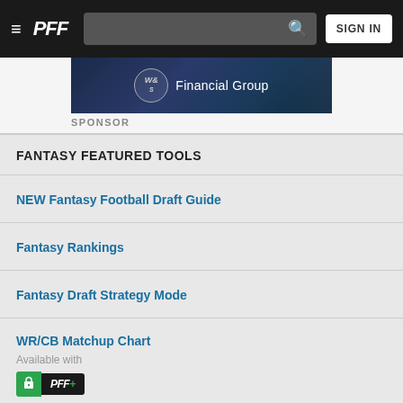PFF — Navigation bar with hamburger menu, PFF logo, search bar, SIGN IN button
[Figure (photo): W&S Financial Group sponsor banner advertisement with dark blue background]
SPONSOR
FANTASY FEATURED TOOLS
NEW Fantasy Football Draft Guide
Fantasy Rankings
Fantasy Draft Strategy Mode
WR/CB Matchup Chart — Available with PFF+
Expected Fantasy Points